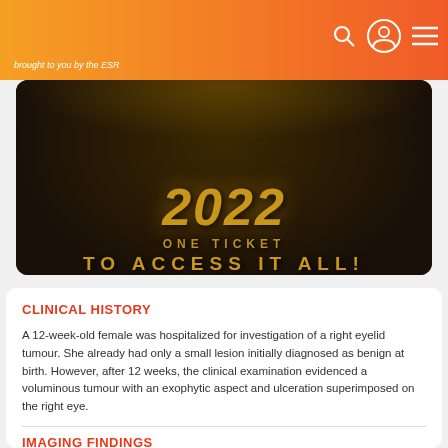brought to you by the ESR
[Figure (photo): Dark promotional image showing '2022' in gold 3D letters with text 'ONE TICKET TO ACCESS IT ALL!' on a black background]
CLINICAL HISTORY
A 12-week-old female was hospitalized for investigation of a right eyelid tumour. She already had only a small lesion initially diagnosed as benign at birth. However, after 12 weeks, the clinical examination evidenced a voluminous tumour with an exophytic aspect and ulceration superimposed on the right eye.
IMAGING FINDINGS